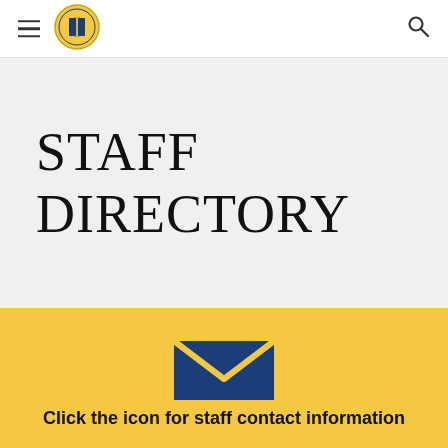≡ [School Logo] [Search Icon]
STAFF DIRECTORY
[Figure (illustration): Blue envelope icon with a yellow V-shaped flap on a yellow background]
Click the icon for staff contact information